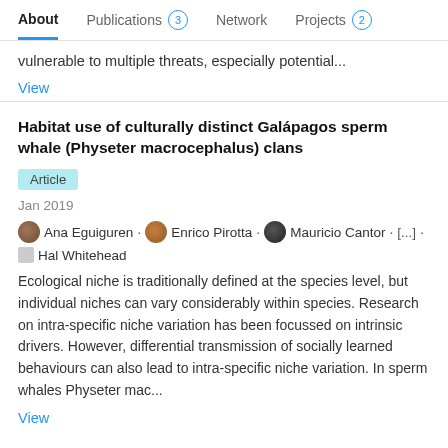About | Publications 3 | Network | Projects 2
vulnerable to multiple threats, especially potential...
View
Habitat use of culturally distinct Galápagos sperm whale (Physeter macrocephalus) clans
Article
Jan 2019
Ana Eguiguren · Enrico Pirotta · Mauricio Cantor · [...] · Hal Whitehead
Ecological niche is traditionally defined at the species level, but individual niches can vary considerably within species. Research on intra-specific niche variation has been focussed on intrinsic drivers. However, differential transmission of socially learned behaviours can also lead to intra-specific niche variation. In sperm whales Physeter mac...
View